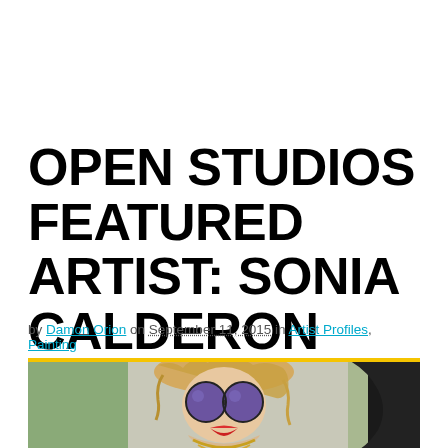OPEN STUDIOS FEATURED ARTIST: SONIA CALDERON
by Damon Orion on September 11, 2015 in Artist Profiles, Painting
[Figure (photo): Photo of a woman with wild blonde hair, wearing large round dark sunglasses, red lipstick, and gold chains, against a green/grey background. A dark painted figure is partially visible on the right side.]